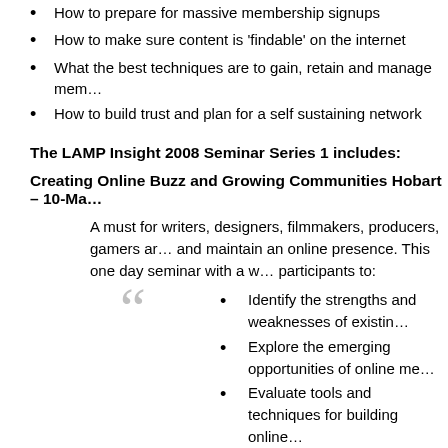How to prepare for massive membership signups
How to make sure content is 'findable' on the internet
What the best techniques are to gain, retain and manage mem…
How to build trust and plan for a self sustaining network
The LAMP Insight 2008 Seminar Series 1 includes:
Creating Online Buzz and Growing Communities Hobart – 10-Ma…
A must for writers, designers, filmmakers, producers, gamers ar… and maintain an online presence. This one day seminar with a w… participants to:
Identify the strengths and weaknesses of existin…
Explore the emerging opportunities of online me…
Evaluate tools and techniques for building online…
Stay up to date with the latest cutting edge work… advanced TV, games and virtual worlds.